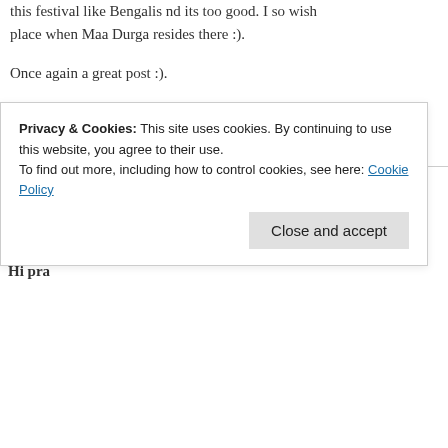this festival like Bengalis nd its too good. I so wish place when Maa Durga resides there :).
Once again a great post :).
Like
Reply
Guria says:
October 1, 2009 at 2:12 PM
Hi pra
Privacy & Cookies: This site uses cookies. By continuing to use this website, you agree to their use. To find out more, including how to control cookies, see here: Cookie Policy